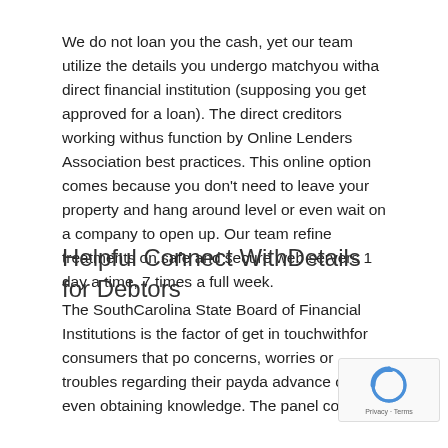We do not loan you the cash, yet our team utilize the details you undergo matchyou witha direct financial institution (supposing you get approved for a loan). The direct creditors working withus function by Online Lenders Association best practices. This online option comes because you don't need to leave your property and hang around level or even wait on a company to open up. Our team refine treatments on safe and secure web servers 1 day a time, 7 times a full week.
Helpful Connect WithDetails for Debtors
The SouthCarolina State Board of Financial Institutions is the factor of get in touchwithfor consumers that po concerns, worries or troubles regarding their payda advance or even obtaining knowledge. The panel co...